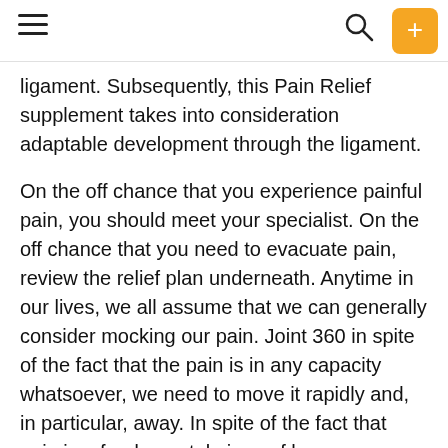Navigation bar with hamburger menu, search icon, and plus button
ligament. Subsequently, this Pain Relief supplement takes into consideration adaptable development through the ligament.
On the off chance that you experience painful pain, you should meet your specialist. On the off chance that you need to evacuate pain, review the relief plan underneath. Anytime in our lives, we all assume that we can generally consider mocking our pain. Joint 360 in spite of the fact that the pain is in any capacity whatsoever, we need to move it rapidly and, in particular, away. In spite of the fact that pain is a fundamental piece of human survival, we are as yet scanning for pain relief. Pain Relief Medications There are numerous ways today; this is our main